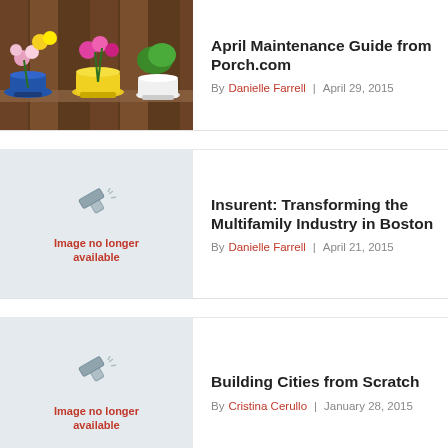[Figure (photo): Colorful flower pots with blooming flowers on a wooden fence shelf]
April Maintenance Guide from Porch.com
By Danielle Farrell | April 29, 2015
[Figure (other): Image no longer available placeholder with hammer icon]
Insurent: Transforming the Multifamily Industry in Boston
By Danielle Farrell | April 21, 2015
[Figure (other): Image no longer available placeholder with hammer icon]
Building Cities from Scratch
By Cristina Cerullo | January 28, 2015